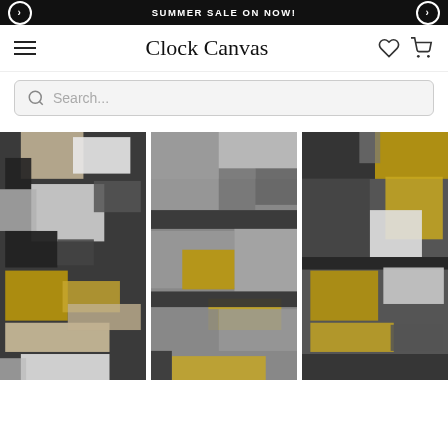SUMMER SALE ON NOW!
Clock Canvas
Search...
[Figure (photo): Three-panel abstract canvas art featuring geometric squares and rectangles in grey, black, gold/yellow, beige, and white tones arranged in a modern collage style.]